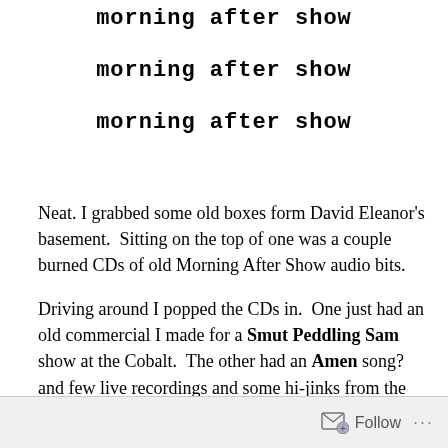morning after show
morning after show
morning after show
Neat. I grabbed some old boxes form David Eleanor’s basement.  Sitting on the top of one was a couple burned CDs of old Morning After Show audio bits.
Driving around I popped the CDs in.  One just had an old commercial I made for a Smut Peddling Sam show at the Cobalt.  The other had an Amen song? and few live recordings and some hi-jinks from the original Morning After Show cast.
Follow  …